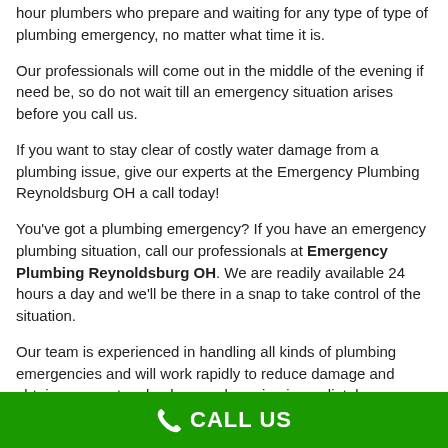hour plumbers who prepare and waiting for any type of type of plumbing emergency, no matter what time it is.
Our professionals will come out in the middle of the evening if need be, so do not wait till an emergency situation arises before you call us.
If you want to stay clear of costly water damage from a plumbing issue, give our experts at the Emergency Plumbing Reynoldsburg OH a call today!
You've got a plumbing emergency? If you have an emergency plumbing situation, call our professionals at Emergency Plumbing Reynoldsburg OH. We are readily available 24 hours a day and we'll be there in a snap to take control of the situation.
Our team is experienced in handling all kinds of plumbing emergencies and will work rapidly to reduce damage and obtain your system back up and running immediately.
CALL US